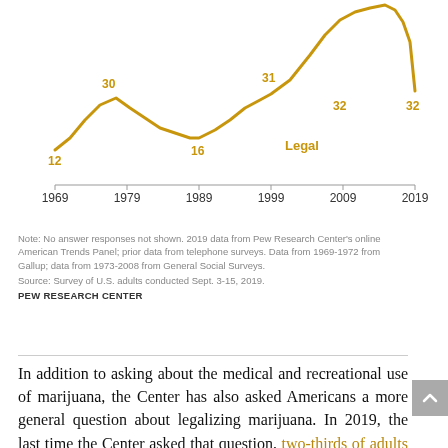[Figure (line-chart): % who say marijuana use should be Legal]
Note: No answer responses not shown. 2019 data from Pew Research Center's online American Trends Panel; prior data from telephone surveys. Data from 1969-1972 from Gallup; data from 1973-2008 from General Social Surveys.
Source: Survey of U.S. adults conducted Sept. 3-15, 2019.
PEW RESEARCH CENTER
In addition to asking about the medical and recreational use of marijuana, the Center has also asked Americans a more general question about legalizing marijuana. In 2019, the last time the Center asked that question, two-thirds of adults expressed support for marijuana legalization, more than